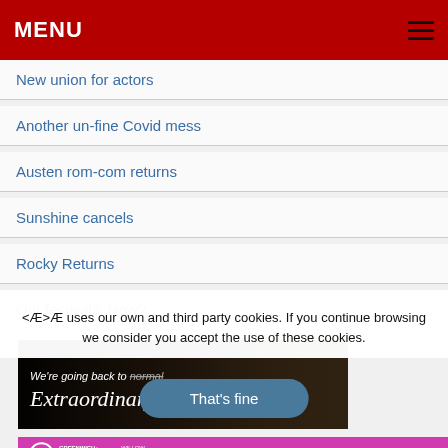MENU
New union for actors
Another un-fine Covid mess
Austen rom-com returns
Sunshine cancels
Rocky Returns
Our festivals: How?
[Figure (illustration): Dark banner ad with crowd background: 'We're going back to normal Extraordinary']
[Figure (illustration): Pink banner ad for 'The Masks of Oscar Wilde' with logos for Greenwich+Docklands, Willow Globe, Fringe]
Æ uses our own and third party cookies. If you continue browsing we consider you accept the use of these cookies.
That's fine